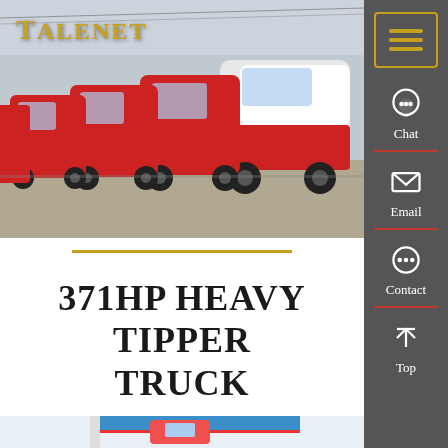[Figure (photo): A row of red and white heavy trucks lined up in a parking/depot area outdoors. Multiple trucks visible in a diagonal perspective line.]
371HP HEAVY TIPPER TRUCK
[Figure (photo): Partial view of a building with blue and red striped roof, partially visible at the bottom of the page.]